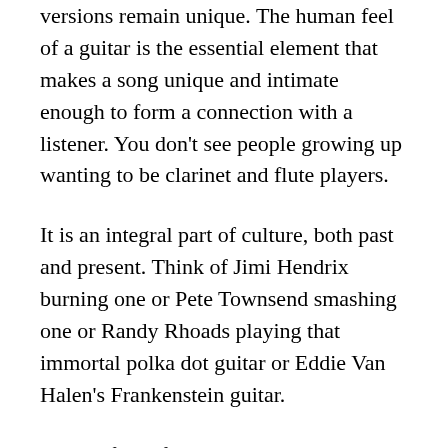versions remain unique. The human feel of a guitar is the essential element that makes a song unique and intimate enough to form a connection with a listener. You don't see people growing up wanting to be clarinet and flute players.
It is an integral part of culture, both past and present. Think of Jimi Hendrix burning one or Pete Townsend smashing one or Randy Rhoads playing that immortal polka dot guitar or Eddie Van Halen's Frankenstein guitar.
Think of all of the disc...